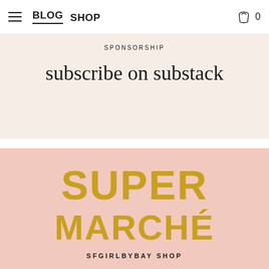BLOG SHOP 0
SPONSORSHIP
subscribe on substack
[Figure (illustration): Super Marché SFGIRLBYBAY SHOP promotional banner on pink background with golden/mustard yellow bold text]
SUPER MARCHÉ
SFGIRLBYBAY SHOP